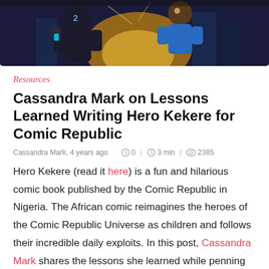[Figure (illustration): Comic book style hero illustration showing animated superhero characters with bright colors, golden light and dark blue background]
Resources
Cassandra Mark on Lessons Learned Writing Hero Kekere for Comic Republic
Cassandra Mark, 4 years ago   0 | 3 min | 2385
Hero Kekere (read it here) is a fun and hilarious comic book published by the Comic Republic in Nigeria. The African comic reimagines the heroes of the Comic Republic Universe as children and follows their incredible daily exploits. In this post, Cassandra Mark shares the lessons she learned while penning the latest